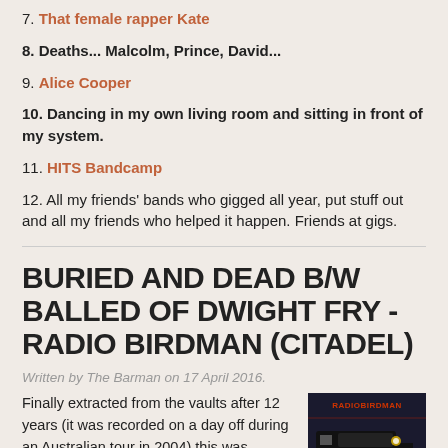7. That female rapper Kate
8. Deaths... Malcolm, Prince, David...
9. Alice Cooper
10. Dancing in my own living room and sitting in front of my system.
11. HITS Bandcamp
12. All my friends' bands who gigged all year, put stuff out and all my friends who helped it happen. Friends at gigs.
BURIED AND DEAD B/W BALLED OF DWIGHT FRY - RADIO BIRDMAN (CITADEL)
Written by The Barman on 17 April 2016.
Finally extracted from the vaults after 12 years (it was recorded on a day off during an Australian tour in 2004) this was released
[Figure (photo): Radio Birdman album cover - dark image with text RADIOBIRDMAN]